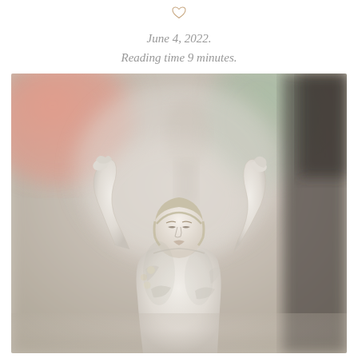[Figure (other): Small heart/diamond outline icon in light gold/tan color]
June 4, 2022.
Reading time 9 minutes.
[Figure (photo): Close-up photograph of a white classical marble sculpture of female figures (The Three Graces or similar) with arms raised, set against a blurred colorful background with pinks, greens, and dark tones.]